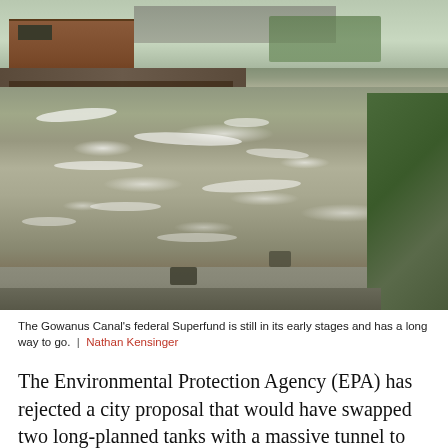[Figure (photo): Aerial view of the Gowanus Canal showing polluted water with white floating patches, a brick industrial building and dock on the left bank, vegetation on the right bank, and a city skyline in the background under an overcast sky.]
The Gowanus Canal's federal Superfund is still in its early stages and has a long way to go. | Nathan Kensinger
The Environmental Protection Agency (EPA) has rejected a city proposal that would have swapped two long-planned tanks with a massive tunnel to divert raw sewage from the Gowanus Canal, according to the